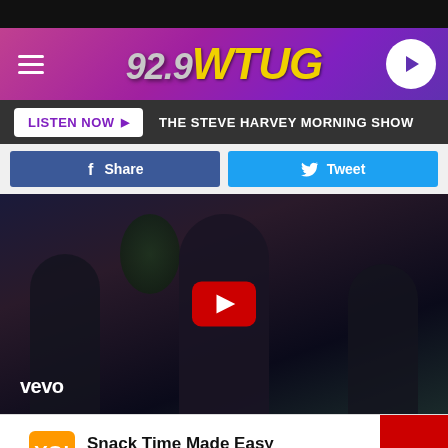[Figure (screenshot): 92.9 WTUG radio station website header with purple/pink gradient background and hamburger menu]
LISTEN NOW ▶  THE STEVE HARVEY MORNING SHOW
Share
Tweet
[Figure (photo): Music video thumbnail showing a woman singing into a microphone with two men in the background, Vevo watermark visible, with YouTube play button overlay]
Snack Time Made Easy
Wegmans